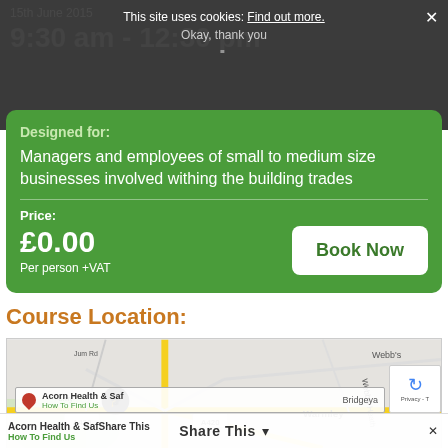15th June 2015 9:30 am - 12:30 pm
This site uses cookies: Find out more. Okay, thank you
Designed for:
Managers and employees of small to medium size businesses involved withing the building trades
Price:
£0.00 Per person +VAT
Book Now
Course Location:
[Figure (map): Google Maps view showing Warmley area near Bristol, with roads including A420 marked, Webb's Heath area visible, and a map pin marking Acorn Health & Safety location]
Acorn Health & Safety How To Find Us
Share This